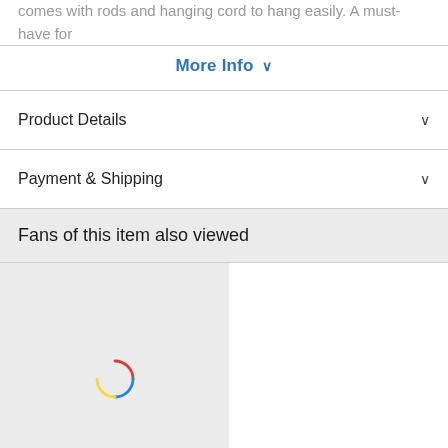comes with rods and hanging cord to hang easily. A must-have for …
More Info ∨
Product Details
Payment & Shipping
Fans of this item also viewed
[Figure (other): Loading spinner (circular multi-color ring) inside a light grey product card placeholder area]